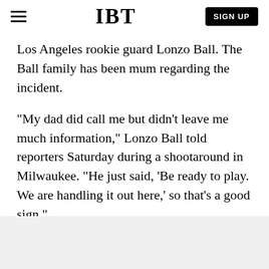IBT | SIGN UP
Los Angeles rookie guard Lonzo Ball. The Ball family has been mum regarding the incident.
"My dad did call me but didn't leave me much information," Lonzo Ball told reporters Saturday during a shootaround in Milwaukee. "He just said, 'Be ready to play. We are handling it out here,' so that's a good sign."